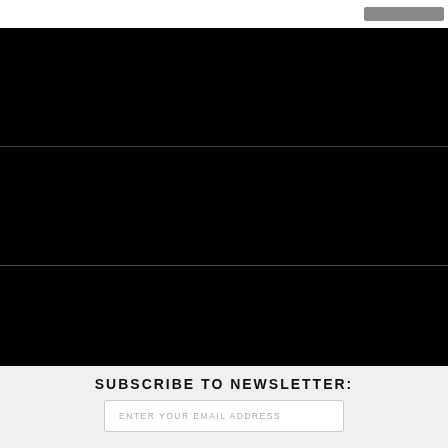[Figure (screenshot): Top navigation bar with a grey button on the right side]
[Figure (screenshot): First black content section panel]
[Figure (screenshot): Second black content section panel]
[Figure (screenshot): Third black content section panel]
SUBSCRIBE TO NEWSLETTER:
ENTER YOUR EMAIL ADDRESS